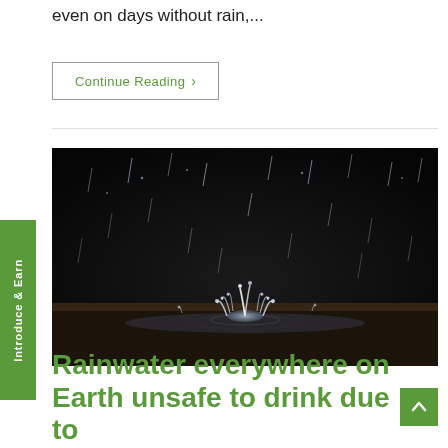even on days without rain,...
Continue Reading ›
[Figure (photo): Close-up macro photo of rain droplets splashing on a wet surface with dark background, showing water splashes and droplets in motion.]
Introduce & Earn
Rainwater everywhere on Earth unsafe to drink due to